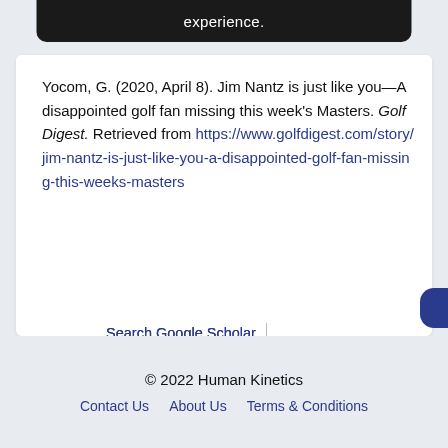experience.
Yocom, G. (2020, April 8). Jim Nantz is just like you—A disappointed golf fan missing this week's Masters. Golf Digest. Retrieved from https://www.golfdigest.com/story/jim-nantz-is-just-like-you-a-disappointed-golf-fan-missing-this-weeks-masters
Search Google Scholar | Export Citation
© 2022 Human Kinetics
Contact Us   About Us   Terms & Conditions